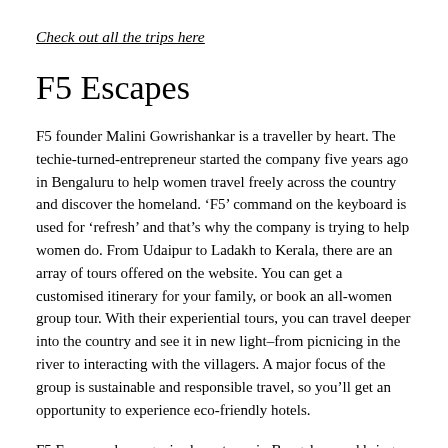Check out all the trips here
F5 Escapes
F5 founder Malini Gowrishankar is a traveller by heart. The techie-turned-entrepreneur started the company five years ago in Bengaluru to help women travel freely across the country and discover the homeland. ‘F5’ command on the keyboard is used for ‘refresh’ and that’s why the company is trying to help women do. From Udaipur to Ladakh to Kerala, there are an array of tours offered on the website. You can get a customised itinerary for your family, or book an all-women group tour. With their experiential tours, you can travel deeper into the country and see it in new light–from picnicing in the river to interacting with the villagers. A major focus of the group is sustainable and responsible travel, so you’ll get an opportunity to experience eco-friendly hotels.
F5 Escapes also organised meet-ups in Bengaluru and bring